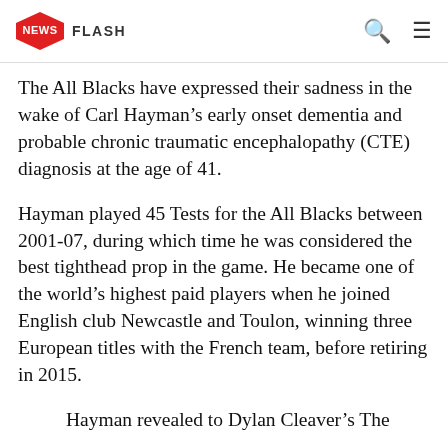NEWS FLASH
The All Blacks have expressed their sadness in the wake of Carl Hayman’s early onset dementia and probable chronic traumatic encephalopathy (CTE) diagnosis at the age of 41.
Hayman played 45 Tests for the All Blacks between 2001-07, during which time he was considered the best tighthead prop in the game. He became one of the world’s highest paid players when he joined English club Newcastle and Toulon, winning three European titles with the French team, before retiring in 2015.
Hayman revealed to Dylan Cleaver’s The